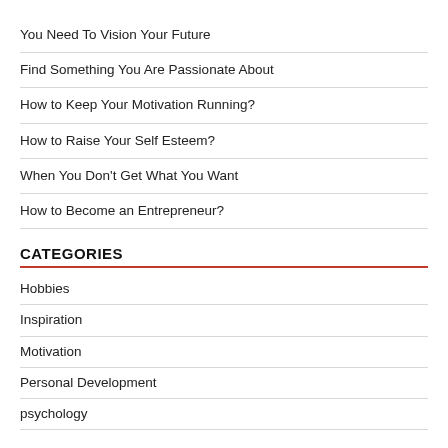You Need To Vision Your Future
Find Something You Are Passionate About
How to Keep Your Motivation Running?
How to Raise Your Self Esteem?
When You Don't Get What You Want
How to Become an Entrepreneur?
CATEGORIES
Hobbies
Inspiration
Motivation
Personal Development
psychology